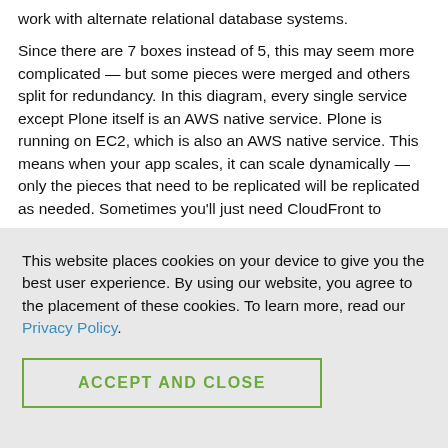work with alternate relational database systems.
Since there are 7 boxes instead of 5, this may seem more complicated — but some pieces were merged and others split for redundancy. In this diagram, every single service except Plone itself is an AWS native service. Plone is running on EC2, which is also an AWS native service. This means when your app scales, it can scale dynamically — only the pieces that need to be replicated will be replicated as needed. Sometimes you'll just need CloudFront to
This website places cookies on your device to give you the best user experience. By using our website, you agree to the placement of these cookies. To learn more, read our Privacy Policy.
ACCEPT AND CLOSE